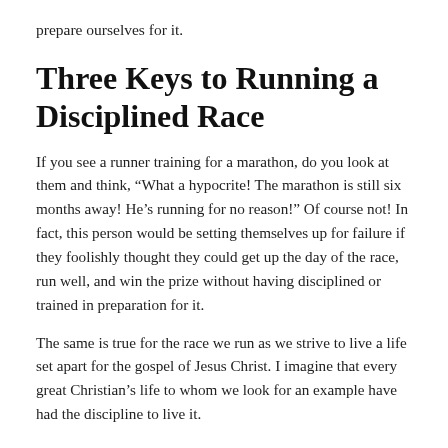prepare ourselves for it.
Three Keys to Running a Disciplined Race
If you see a runner training for a marathon, do you look at them and think, “What a hypocrite! The marathon is still six months away! He’s running for no reason!” Of course not! In fact, this person would be setting themselves up for failure if they foolishly thought they could get up the day of the race, run well, and win the prize without having disciplined or trained in preparation for it.
The same is true for the race we run as we strive to live a life set apart for the gospel of Jesus Christ. I imagine that every great Christian’s life to whom we look for an example have had the discipline to live it.